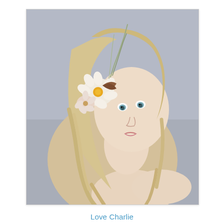[Figure (photo): Portrait of a young blonde girl looking over her shoulder with wavy hair and a decorative floral hair accessory featuring cream flowers, a brown ribbon bow, yellow button center, and feathers, against a gray studio background. She has a bare shoulder visible.]
Love Charlie